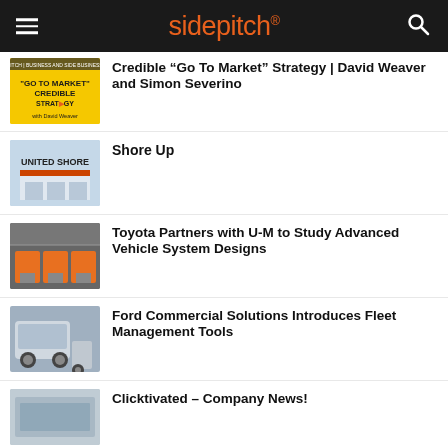sidepitch
Credible “Go To Market” Strategy | David Weaver and Simon Severino
Shore Up
Toyota Partners with U-M to Study Advanced Vehicle System Designs
Ford Commercial Solutions Introduces Fleet Management Tools
Clicktivated – Company News!